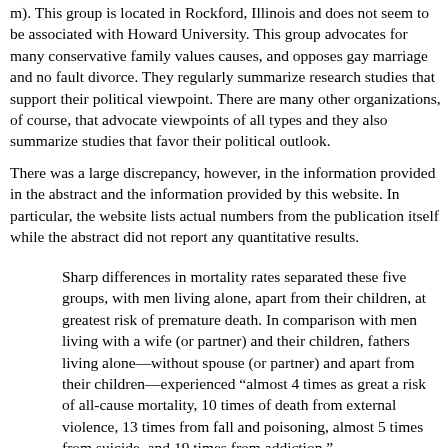m). This group is located in Rockford, Illinois and does not seem to be associated with Howard University. This group advocates for many conservative family values causes, and opposes gay marriage and no fault divorce. They regularly summarize research studies that support their political viewpoint. There are many other organizations, of course, that advocate viewpoints of all types and they also summarize studies that favor their political outlook.
There was a large discrepancy, however, in the information provided in the abstract and the information provided by this website. In particular, the website lists actual numbers from the publication itself while the abstract did not report any quantitative results.
Sharp differences in mortality rates separated these five groups, with men living alone, apart from their children, at greatest risk of premature death. In comparison with men living with a wife (or partner) and their children, fathers living alone—without spouse (or partner) and apart from their children—experienced “almost 4 times as great a risk of all-cause mortality, 10 times of death from external violence, 13 times from fall and poisoning, almost 5 times from suicide, and 19 times from addiction.”